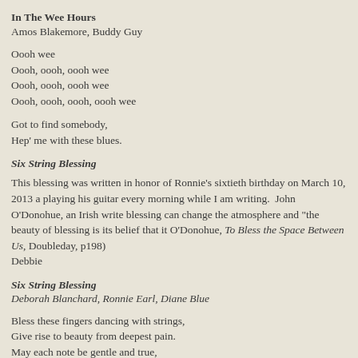In The Wee Hours
Amos Blakemore, Buddy Guy
Oooh wee
Oooh, oooh, oooh wee
Oooh, oooh, oooh wee
Oooh, oooh, oooh, oooh wee
Got to find somebody,
Hep' me with these blues.
Six String Blessing
This blessing was written in honor of Ronnie's sixtieth birthday on March 10, 2013 a playing his guitar every morning while I am writing.  John O'Donohue, an Irish write blessing can change the atmosphere and "the beauty of blessing is its belief that it O'Donohue, To Bless the Space Between Us, Doubleday, p198)
Debbie
Six String Blessing
Deborah Blanchard, Ronnie Earl, Diane Blue
Bless these fingers dancing with strings,
Give rise to beauty from deepest pain.
May each note be gentle and true,
Sometimes fiery always blue.
Chorus:
Take me, touch you,
 Music of life.
 Heal me, move you,
 Blessings begin.